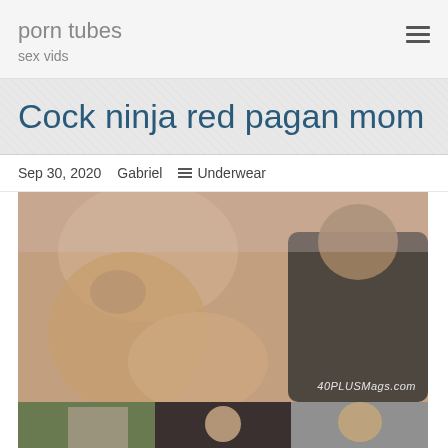porn tubes
sex vids
Cock ninja red pagan mom
Sep 30, 2020   Gabriel   Underwear
[Figure (photo): Adult content thumbnail image showing individuals, with watermark '40PLUSMags.com' in bottom right corner]
[Figure (photo): Second adult content thumbnail image strip at bottom]